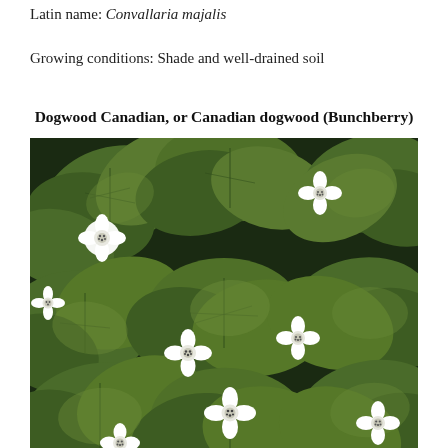Latin name: Convallaria majalis
Growing conditions: Shade and well-drained soil
Dogwood Canadian, or Canadian dogwood (Bunchberry)
[Figure (photo): Close-up illustration/photo of Bunchberry (Canadian dogwood) ground cover showing dense green leaves with distinctive veining and small white four-petaled flowers with dark centers scattered throughout.]